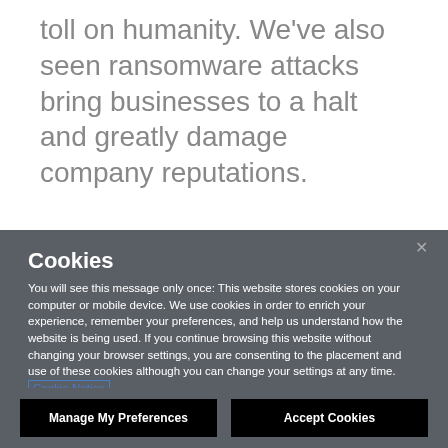toll on humanity. We've also seen ransomware attacks bring businesses to a halt and greatly damage company reputations.
Cyber attacks are justifiably business
Cookies
You will see this message only once: This website stores cookies on your computer or mobile device. We use cookies in order to enrich your experience, remember your preferences, and help us understand how the website is being used. If you continue browsing this website without changing your browser settings, you are consenting to the placement and use of these cookies although you can change your settings at any time. Cookie Notice
Manage My Preferences
Accept Cookies